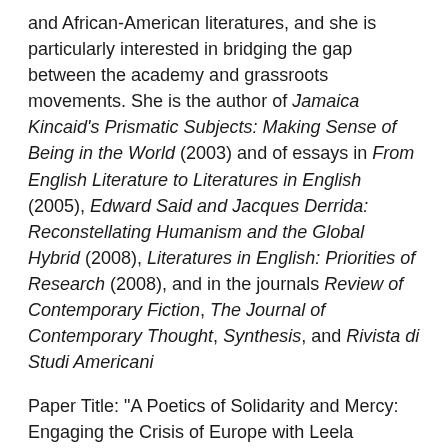and African-American literatures, and she is particularly interested in bridging the gap between the academy and grassroots movements. She is the author of Jamaica Kincaid's Prismatic Subjects: Making Sense of Being in the World (2003) and of essays in From English Literature to Literatures in English (2005), Edward Said and Jacques Derrida: Reconstellating Humanism and the Global Hybrid (2008), Literatures in English: Priorities of Research (2008), and in the journals Review of Contemporary Fiction, The Journal of Contemporary Thought, Synthesis, and Rivista di Studi Americani
Paper Title: "A Poetics of Solidarity and Mercy: Engaging the Crisis of Europe with Leela Gandhi, Judith Butler, and Michelle Cliff"
Paper Abstract: The crisis of Europe, which exploded with the Greek crisis and was sealed by Brexit, has been characterized for decades by the human catastrophe of migrants, refugees, and asylum seekers. I argue that Europe's deeply political crisis